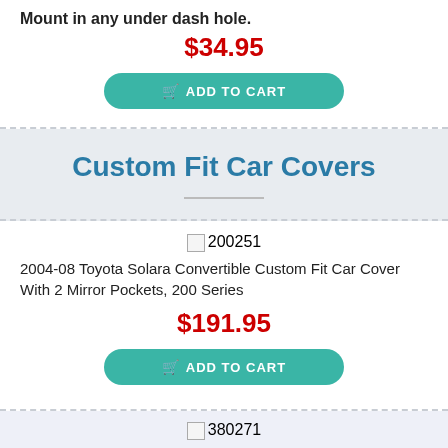Mount in any under dash hole.
$34.95
ADD TO CART
Custom Fit Car Covers
[Figure (other): Broken image placeholder with label 200251]
2004-08 Toyota Solara Convertible Custom Fit Car Cover With 2 Mirror Pockets, 200 Series
$191.95
ADD TO CART
[Figure (other): Broken image placeholder with label 380271]